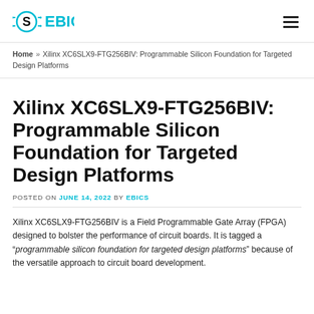GEBICS
Home » Xilinx XC6SLX9-FTG256BIV: Programmable Silicon Foundation for Targeted Design Platforms
Xilinx XC6SLX9-FTG256BIV: Programmable Silicon Foundation for Targeted Design Platforms
POSTED ON JUNE 14, 2022 BY EBICS
Xilinx XC6SLX9-FTG256BIV is a Field Programmable Gate Array (FPGA) designed to bolster the performance of circuit boards. It is tagged a “programmable silicon foundation for targeted design platforms” because of the versatile approach to circuit board development.